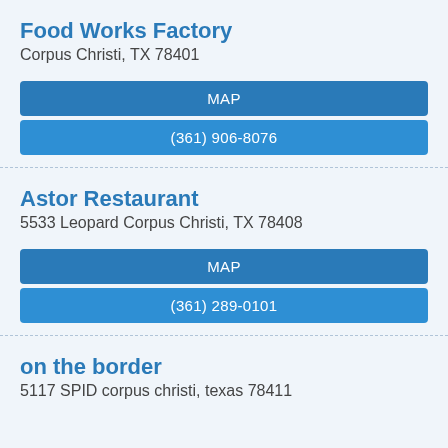Food Works Factory
Corpus Christi, TX 78401
MAP
(361) 906-8076
Astor Restaurant
5533 Leopard Corpus Christi, TX 78408
MAP
(361) 289-0101
on the border
5117 SPID corpus christi, texas 78411